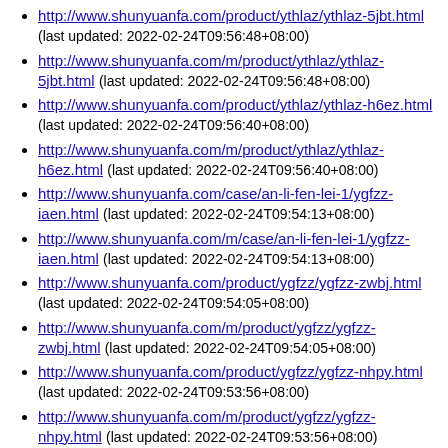http://www.shunyuanfa.com/product/ythlaz/ythlaz-5jbt.html (last updated: 2022-02-24T09:56:48+08:00)
http://www.shunyuanfa.com/m/product/ythlaz/ythlaz-5jbt.html (last updated: 2022-02-24T09:56:48+08:00)
http://www.shunyuanfa.com/product/ythlaz/ythlaz-h6ez.html (last updated: 2022-02-24T09:56:40+08:00)
http://www.shunyuanfa.com/m/product/ythlaz/ythlaz-h6ez.html (last updated: 2022-02-24T09:56:40+08:00)
http://www.shunyuanfa.com/case/an-li-fen-lei-1/ygfzz-iaen.html (last updated: 2022-02-24T09:54:13+08:00)
http://www.shunyuanfa.com/m/case/an-li-fen-lei-1/ygfzz-iaen.html (last updated: 2022-02-24T09:54:13+08:00)
http://www.shunyuanfa.com/product/ygfzz/ygfzz-zwbj.html (last updated: 2022-02-24T09:54:05+08:00)
http://www.shunyuanfa.com/m/product/ygfzz/ygfzz-zwbj.html (last updated: 2022-02-24T09:54:05+08:00)
http://www.shunyuanfa.com/product/ygfzz/ygfzz-nhpy.html (last updated: 2022-02-24T09:53:56+08:00)
http://www.shunyuanfa.com/m/product/ygfzz/ygfzz-nhpy.html (last updated: 2022-02-24T09:53:56+08:00)
http://www.shunyuanfa.com/product/ygfzz/ygfzz-rvux.html (last updated: 2022-02-24T09:53:48+08:00)
http://www.shunyuanfa.com/m/product/ygfzz/ygfzz-rvux.html (last updated: 2022-02-24T09:53:48+08:00)
http://www.shunyuanfa.com/product/ygfzz/ygfzz-lkas.html